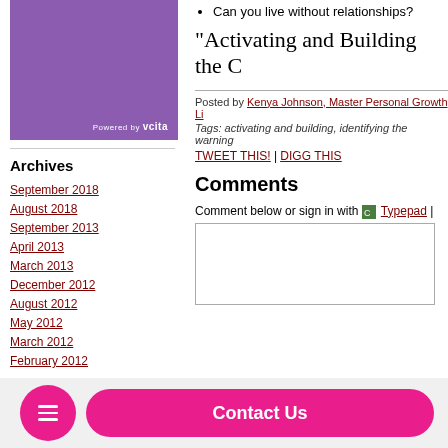[Figure (other): Purple/violet colored box with 'Powered by vcita' text at bottom right]
Archives
September 2018
August 2018
September 2013
April 2013
March 2013
December 2012
August 2012
May 2012
March 2012
February 2012
C...
A Positive Foot Forward (2)
Can you live without relationships?
"Activating and Building the C..."
Posted by Kenya Johnson, Master Personal Growth Li...
Tags: activating and building, identifying the warning...
TWEET THIS! | DIGG THIS
Comments
Comment below or sign in with Typepad |